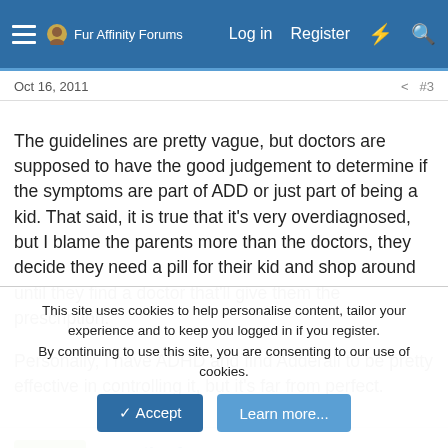Fur Affinity Forums  Log in  Register
Oct 16, 2011  #3
The guidelines are pretty vague, but doctors are supposed to have the good judgement to determine if the symptoms are part of ADD or just part of being a kid. That said, it is true that it's very overdiagnosed, but I blame the parents more than the doctors, they decide they need a pill for their kid and shop around until they find a doctor that'll give them the prescription.

Personally, I have ADHD and find Adderall to be pretty effective in controlling it, but it's far from perfect.
greg-the-fox
Well-Known Member
This site uses cookies to help personalise content, tailor your experience and to keep you logged in if you register.
By continuing to use this site, you are consenting to our use of cookies.